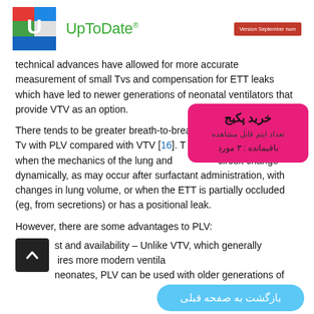[Figure (logo): UpToDate logo with colorful U icon and green UpToDate text, plus red version badge]
technical advances have allowed for more accurate measurement of small Tvs and compensation for ETT leaks which have led to newer generations of neonatal ventilators that provide VTV as an option.
There tends to be greater breath-to-breath variability in delivered Tv with PLV compared with VTV [16]. This is more pronounced when the mechanics of the lung and ventilator circuit change dynamically, as may occur after surfactant administration, with changes in lung volume, or when the ETT is partially occluded (eg, from secretions) or has a positional leak.
However, there are some advantages to PLV:
Cost and availability – Unlike VTV, which generally requires more modern ventilators, neonates, PLV can be used with older generations of